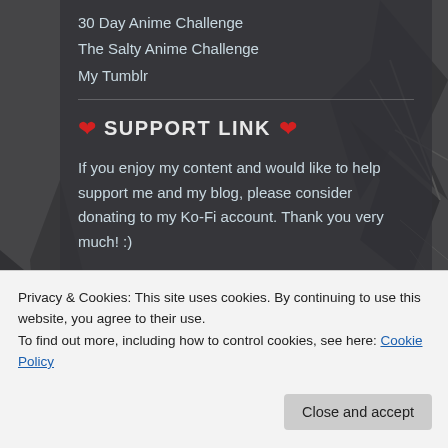30 Day Anime Challenge
The Salty Anime Challenge
My Tumblr
❤ SUPPORT LINK ❤
If you enjoy my content and would like to help support me and my blog, please consider donating to my Ko-Fi account. Thank you very much! :)
[Figure (other): Buy Me a Coffee button (Ko-Fi style teal rounded button with heart/cup icon)]
TOP POSTS AND PAGES
Privacy & Cookies: This site uses cookies. By continuing to use this website, you agree to their use.
To find out more, including how to control cookies, see here: Cookie Policy
Close and accept
Episodes 10, 11 and 12 (FINALE)